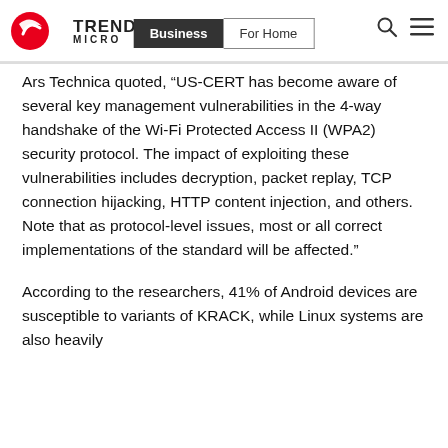Trend Micro | Business | For Home
Ars Technica quoted, “US-CERT has become aware of several key management vulnerabilities in the 4-way handshake of the Wi-Fi Protected Access II (WPA2) security protocol. The impact of exploiting these vulnerabilities includes decryption, packet replay, TCP connection hijacking, HTTP content injection, and others. Note that as protocol-level issues, most or all correct implementations of the standard will be affected.”
According to the researchers, 41% of Android devices are susceptible to variants of KRACK, while Linux systems are also heavily